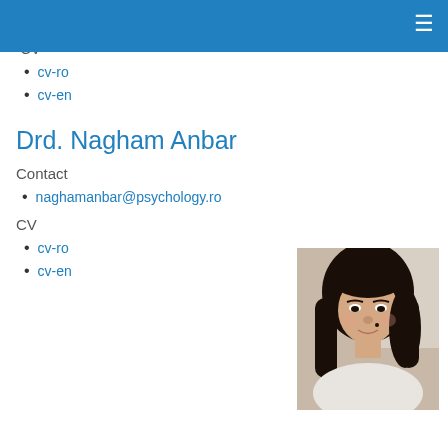andreeaantonesei@psychology.ro
CV
cv-ro
cv-en
Drd. Nagham Anbar
Contact
naghamanbar@psychology.ro
CV
cv-ro
cv-en
[Figure (photo): Portrait photo of Drd. Nagham Anbar, a young woman with dark hair, smiling, wearing a light-colored top]